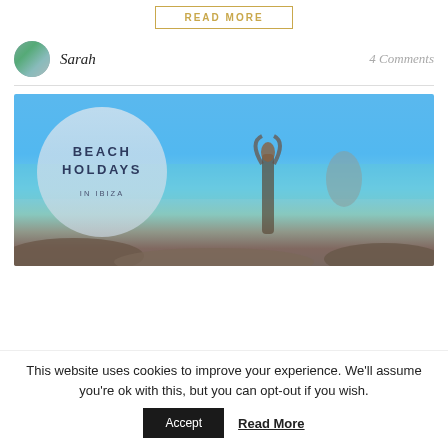[Figure (other): READ MORE button with gold/tan border and text]
Sarah
4 Comments
[Figure (photo): Beach holiday photo showing a woman on rocky shore with blue sea, with circular overlay reading 'BEACH HOLDAYS IN IBIZA']
This website uses cookies to improve your experience. We'll assume you're ok with this, but you can opt-out if you wish.
Accept
Read More